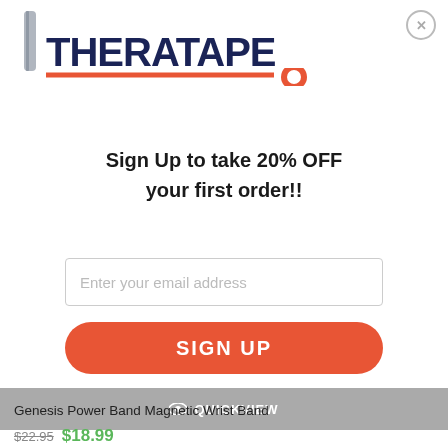[Figure (logo): TheraTape logo with dark navy bold text and red underline graphic with circle]
Sign Up to take 20% OFF your first order!!
Enter your email address
SIGN UP
👁 QUICKVIEW
Genesis Power Band Magnetic Wrist Band
$22.95  $18.99